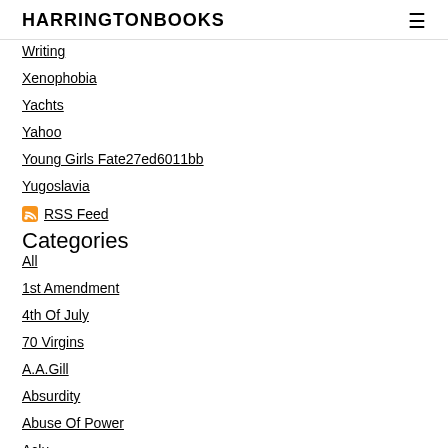HARRINGTONBOOKS
Writing
Xenophobia
Yachts
Yahoo
Young Girls Fate27ed6011bb
Yugoslavia
RSS Feed
Categories
All
1st Amendment
4th Of July
70 Virgins
A.A.Gill
Absurdity
Abuse Of Power
Aclu